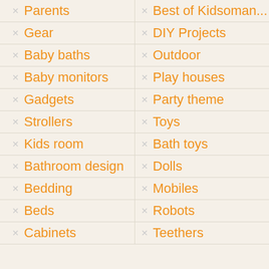Parents
Best of Kidsoman...
Gear
DIY Projects
Baby baths
Outdoor
Baby monitors
Play houses
Gadgets
Party theme
Strollers
Toys
Kids room
Bath toys
Bathroom design
Dolls
Bedding
Mobiles
Beds
Robots
Cabinets
Teethers